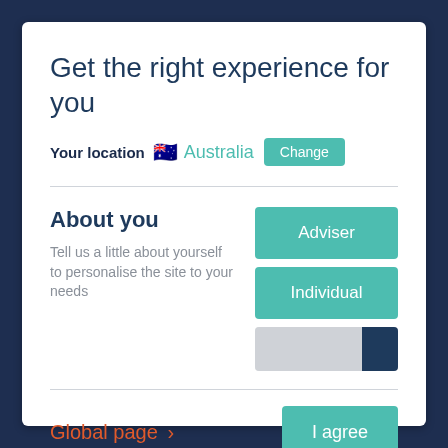Get the right experience for you
Your location 🇦🇺 Australia Change
About you
Tell us a little about yourself to personalise the site to your needs
Adviser
Individual
Global page >
I agree